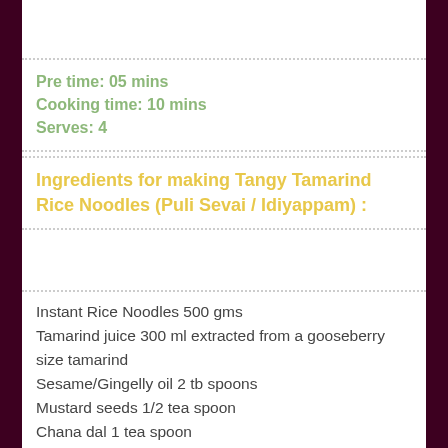Pre time: 05 mins
Cooking time: 10 mins
Serves: 4
Ingredients for making Tangy Tamarind Rice Noodles (Puli Sevai / Idiyappam) :
Instant Rice Noodles 500 gms
Tamarind juice 300 ml extracted from a gooseberry size tamarind
Sesame/Gingelly oil 2 tb spoons
Mustard seeds 1/2 tea spoon
Chana dal 1 tea spoon
Rosted peanuts 2 tea spoons
Red chillies 4 or 5
Hing a pinch 1/4 tsp